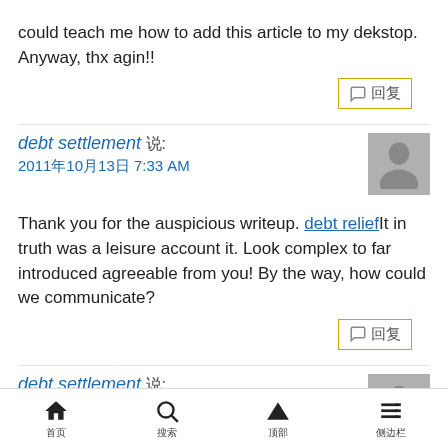could teach me how to add this article to my dekstop. Anyway, thx agin!!
debt settlement 说: 2011年10月13日 7:33 AM
Thank you for the auspicious writeup. debt reliefIt in truth was a leisure account it. Look complex to far introduced agreeable from you! By the way, how could we communicate?
debt settlement 说:
首页 搜索 顶部 侧边栏